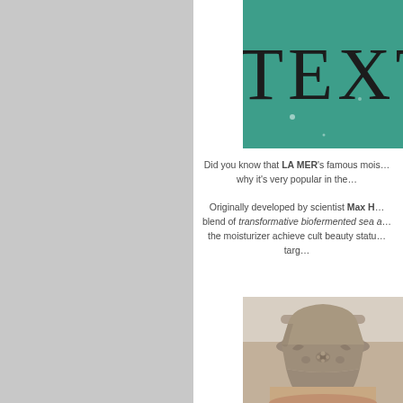[Figure (other): Teal/green banner header partially visible at top right with large serif text 'TEXTU...' (truncated), decorative dot accents]
Did you know that LA MER's famous mois... why it's very popular in the...
Originally developed by scientist Max H... blend of transformative biofermented sea a... the moisturizer achieve cult beauty statu... targ...
[Figure (photo): Close-up photo of a decorative stone urn or vase with floral relief carvings, appears to be a classical/antique style ornamental pot]